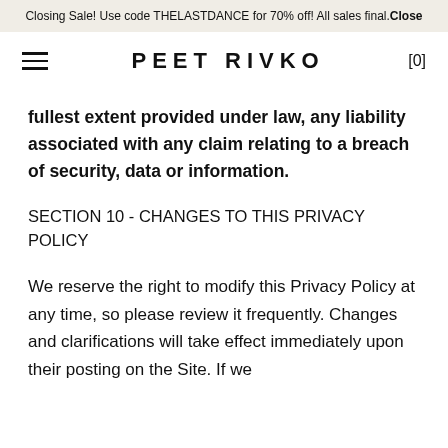Closing Sale! Use code THELASTDANCE for 70% off! All sales final. Close
PEET RIVKO [0]
fullest extent provided under law, any liability associated with any claim relating to a breach of security, data or information.
SECTION 10 - CHANGES TO THIS PRIVACY POLICY
We reserve the right to modify this Privacy Policy at any time, so please review it frequently. Changes and clarifications will take effect immediately upon their posting on the Site. If we